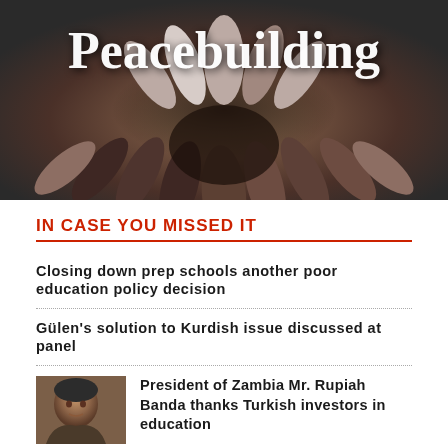[Figure (photo): Photograph of many diverse hands reaching toward the center in a circle, symbolizing unity and peacebuilding, with the word 'Peacebuilding' overlaid at the top in large white serif font.]
IN CASE YOU MISSED IT
Closing down prep schools another poor education policy decision
Gülen's solution to Kurdish issue discussed at panel
[Figure (photo): Thumbnail photo of an older man, appearing to be President of Zambia Mr. Rupiah Banda.]
President of Zambia Mr. Rupiah Banda thanks Turkish investors in education